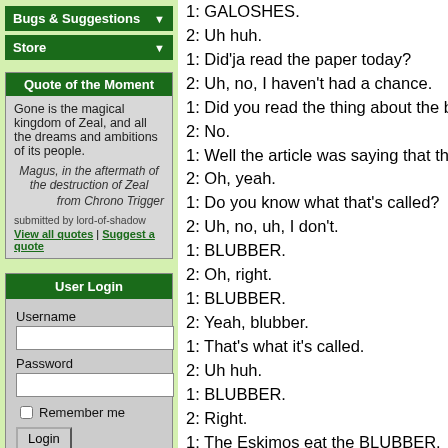Bugs & Suggestions
Store
Quote of the Moment
Gone is the magical kingdom of Zeal, and all the dreams and ambitions of its people.
Magus, in the aftermath of the destruction of Zeal
from Chrono Trigger
submitted by lord-of-shadow
View all quotes | Suggest a quote
User Login
Username
Password
Remember me
Login
Register
Lost password?
1: GALOSHES.
2: Uh huh.
1: Did'ja read the paper today?
2: Uh, no, I haven't had a chance.
1: Did you read the thing about the b
2: No.
1: Well the article was saying that th
2: Oh, yeah.
1: Do you know what that's called?
2: Uh, no, uh, I don't.
1: BLUBBER.
2: Oh, right.
1: BLUBBER.
2: Yeah, blubber.
1: That's what it's called.
2: Uh huh.
1: BLUBBER.
2: Right.
1: The Eskimos eat the BLUBBER.
2: Uh huh.
1: And the BLUBBER will come fron
2: Oh, yeah.
1: Sometimes it will come from a BA
2: Uh huh.
1: BALOOGAH!